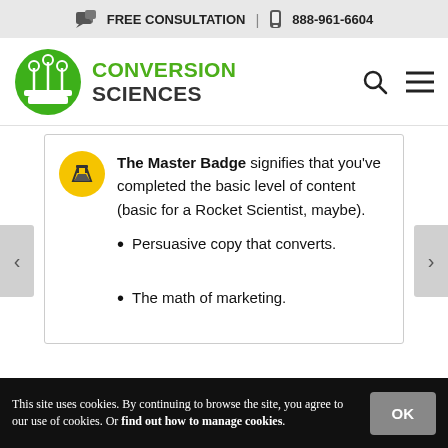FREE CONSULTATION | 888-961-6604
[Figure (logo): Conversion Sciences logo with green circle containing antenna towers and green/dark text]
The Master Badge signifies that you've completed the basic level of content (basic for a Rocket Scientist, maybe).
Persuasive copy that converts.
The math of marketing.
This site uses cookies. By continuing to browse the site, you agree to our use of cookies. Or find out how to manage cookies.